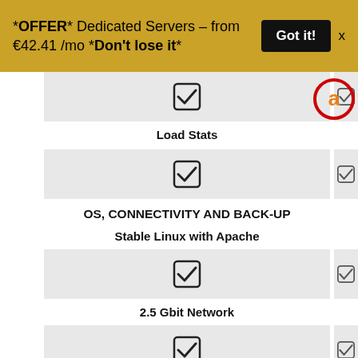*OFFER* Dedicated Servers – from €42.41 /mo *Don't lose it*
[Figure (screenshot): Dedicated server hosting feature list with checkboxes showing Load Stats, OS Connectivity and Back-Up, Stable Linux with Apache, 2.5 Gbit Network, Help UPS & diesel back-up generator]
Load Stats
OS, CONNECTIVITY AND BACK-UP
Stable Linux with Apache
2.5 Gbit Network
Help UPS & diesel back-up generator